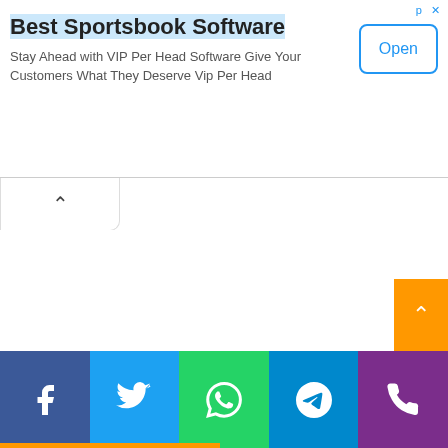Best Sportsbook Software
Stay Ahead with VIP Per Head Software Give Your Customers What They Deserve Vip Per Head
[Figure (screenshot): Ad banner with Open button and collapse arrow UI element, followed by social share bar with Facebook, Twitter, WhatsApp, Telegram, and Phone icons]
Social share buttons: Facebook, Twitter, WhatsApp, Telegram, Phone